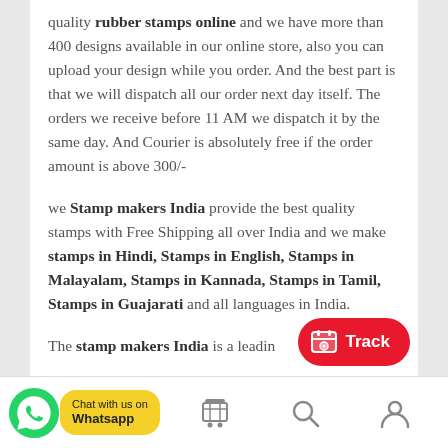quality rubber stamps online and we have more than 400 designs available in our online store, also you can upload your design while you order. And the best part is that we will dispatch all our order next day itself. The orders we receive before 11 AM we dispatch it by the same day. And Courier is absolutely free if the order amount is above 300/-
we Stamp makers India provide the best quality stamps with Free Shipping all over India and we make stamps in Hindi, Stamps in English, Stamps in Malayalam, Stamps in Kannada, Stamps in Tamil, Stamps in Guajarati and all languages in India.
The stamp makers India is a leadin
[Figure (other): WhatsApp Chat button with green WhatsApp logo icon and yellow label saying 'Chat with us on Whatsapp']
[Figure (other): Red rounded Track button with a store/tracking icon]
[Figure (other): Bottom navigation bar with cart icon, search icon, and user/profile icon]